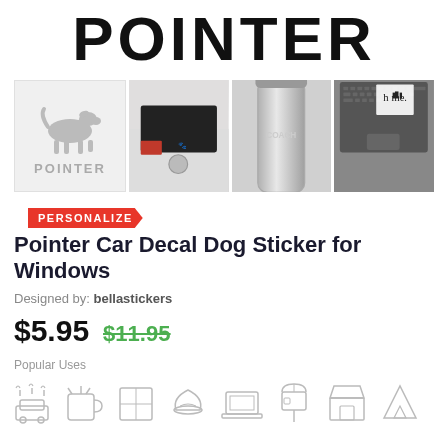POINTER
[Figure (photo): Product images: pointer dog silhouette logo, car decal on VW bumper, tumbler with decal, laptop with home decal]
PERSONALIZE
Pointer Car Decal Dog Sticker for Windows
Designed by: bellastickers
$5.95  $11.95
Popular Uses
[Figure (illustration): Row of popular use icons: car wash, mug, window, helmet, laptop, mailbox, shop, camping]